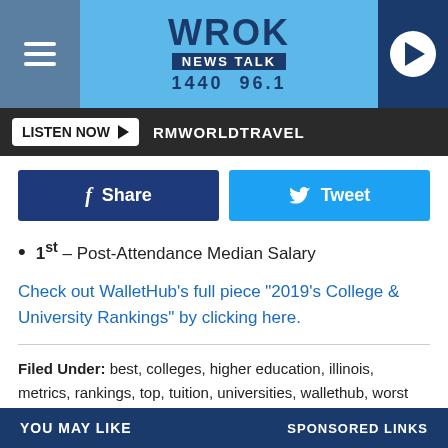WROK NEWS TALK 1440 96.1
LISTEN NOW  RMWORLDTRAVEL
[Figure (screenshot): Facebook Share button (dark blue) and Twitter Tweet button (light blue)]
1st – Post-Attendance Median Salary
Check out WalletHub's full piece "2019's College & University Rankings" by clicking here.
Filed Under: best, colleges, higher education, illinois, metrics, rankings, top, tuition, universities, wallethub, worst
Categories: Articles, Lists, Local News, Photos
Comments
YOU MAY LIKE    SPONSORED LINKS